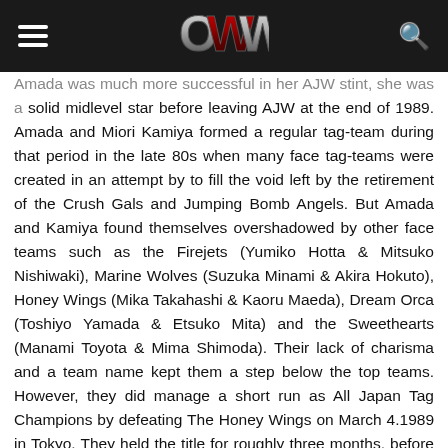OWW
Amada was much more successful in her AJW stint, she was a solid midlevel star before leaving AJW at the end of 1989. Amada and Miori Kamiya formed a regular tag-team during that period in the late 80s when many face tag-teams were created in an attempt by to fill the void left by the retirement of the Crush Gals and Jumping Bomb Angels. But Amada and Kamiya found themselves overshadowed by other face teams such as the Firejets (Yumiko Hotta & Mitsuko Nishiwaki), Marine Wolves (Suzuka Minami & Akira Hokuto), Honey Wings (Mika Takahashi & Kaoru Maeda), Dream Orca (Toshiyo Yamada & Etsuko Mita) and the Sweethearts (Manami Toyota & Mima Shimoda). Their lack of charisma and a team name kept them a step below the top teams. However, they did manage a short run as All Japan Tag Champions by defeating The Honey Wings on March 4.1989 in Tokyo. They held the title for roughly three months, before the promotion lost patience with their inability to get over with the fans, and they ended up dropping it to Dream Orca on June 16, 1989, in Tokyo.